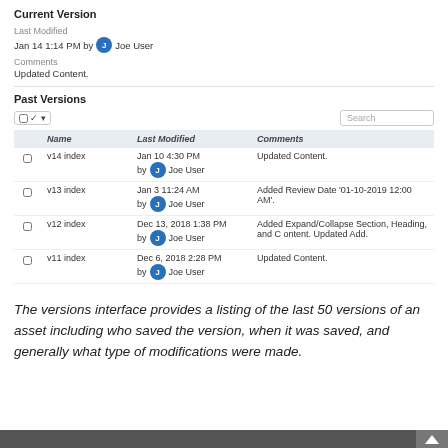Current Version
Last Modified
Jan 14 1:14 PM by J Joe User
Comments
Updated Content.
Past Versions
[Figure (screenshot): Table of past versions with columns Name, Last Modified, Comments showing v14 index, v13 index, v12 index, v11 index entries]
The versions interface provides a listing of the last 50 versions of an asset including who saved the version, when it was saved, and generally what type of modifications were made.